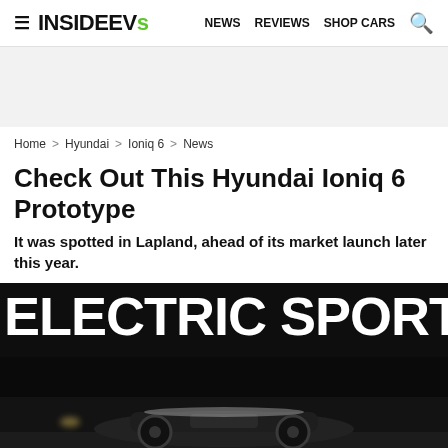InsideEVs — NEWS  REVIEWS  SHOP CARS
Home > Hyundai > Ioniq 6 > News
Check Out This Hyundai Ioniq 6 Prototype
It was spotted in Lapland, ahead of its market launch later this year.
[Figure (photo): Dark nighttime photo of a Hyundai Ioniq 6 prototype in Lapland covered in snow, with large white bold text overlay reading 'ELECTRIC SPORTS CAR']